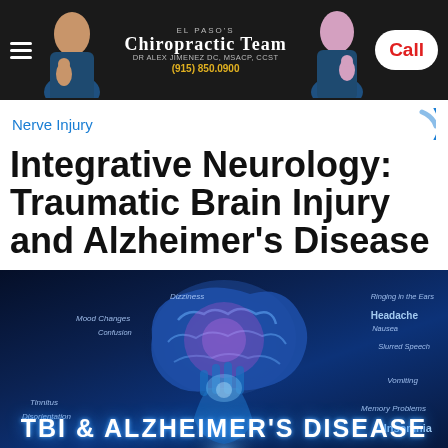El Paso's Chiropractic Team | Dr Alex Jimenez DC, MSACP, CCST | (915) 850.0900 | Call
Nerve Injury
Integrative Neurology: Traumatic Brain Injury and Alzheimer's Disease
[Figure (illustration): Medical illustration of a glowing human brain held by hands against a dark blue background, with symptom labels including Dizziness, Mood Changes, Confusion, Ringing in the Ears, Headache, Nausea, Slurred Speech, Vomiting, Tinnitus, Memory Problems, Insomnia, Disorientation. Large text reads TBI & ALZHEIMER'S DISEASE.]